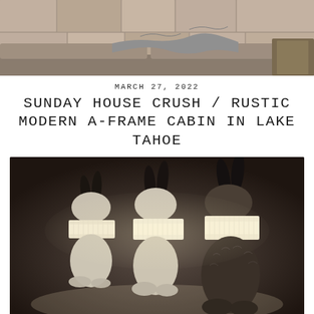[Figure (photo): Top portion of a photo showing a rustic bench or sofa with stone/brick wall behind it, with a gray throw blanket draped over it.]
MARCH 27, 2022
SUNDAY HOUSE CRUSH / RUSTIC MODERN A-FRAME CABIN IN LAKE TAHOE
[Figure (photo): Black and white / sepia-toned photo of three rabbit-shaped table lamps glowing with drum shades around their mid-sections, arranged in a row on a dark background.]